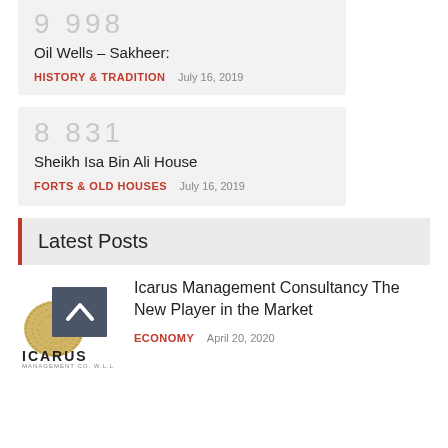9 998
Oil Wells – Sakheer:
HISTORY & TRADITION  July 16, 2019
8 831
Sheikh Isa Bin Ali House
FORTS & OLD HOUSES  July 16, 2019
Latest Posts
[Figure (logo): Icarus Management Co. W.L.L logo with golden circular element and dark grey square with white chevron]
Icarus Management Consultancy The New Player in the Market
ECONOMY  April 20, 2020